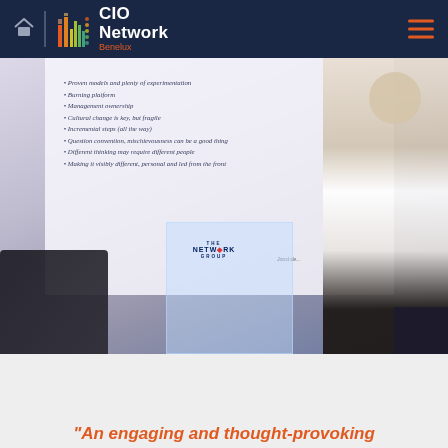CIO Network Benelux
[Figure (photo): A presenter standing next to a presentation slide listing bullet points: Proven models and plenty of experimentation, Burning platform, Management ownership, Cultural change is key but fragile, Incremental steps (all the way), Question convention mischievousness can be a good thing, Different thinking may require different people, Making it visibly different personal and led from the front. The Network Group logo is visible on the podium.]
“An engaging and thought-provoking